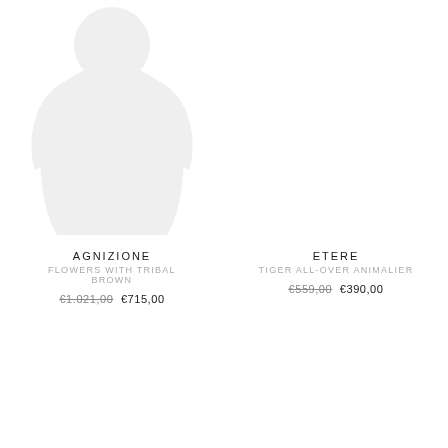[Figure (illustration): Faint ghost/silhouette image of a jacket or garment, very light gray on white background, positioned in the upper-left product column]
AGNIZIONE
FLOWERS WITH TRIBAL BROWN
€1.021,00  €715,00
ETERE
TIGER ALL-OVER ANIMALIER
€559,00  €390,00